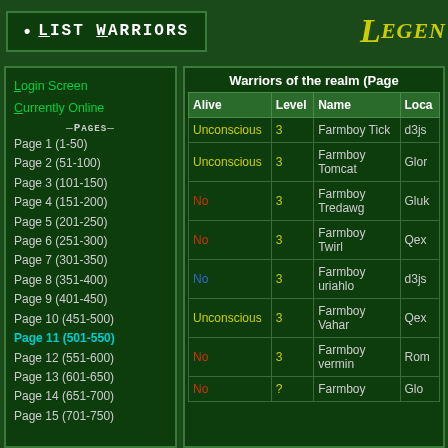• LIST WARRIORS
Login Screen
Currently Online
—PAGES—
Page 1 (1-50)
Page 2 (51-100)
Page 3 (101-150)
Page 4 (151-200)
Page 5 (201-250)
Page 6 (251-300)
Page 7 (301-350)
Page 8 (351-400)
Page 9 (401-450)
Page 10 (451-500)
Page 11 (501-550)
Page 12 (551-600)
Page 13 (601-650)
Page 14 (651-700)
Page 15 (701-750)
| Alive | Level | Name | Loca... |
| --- | --- | --- | --- |
| Unconscious | 3 | Farmboy Tick | d3js... |
| Unconscious | 3 | Farmboy Tomcat | Glor... |
| No | 3 | Farmboy Tredawg | Gluk... |
| No | 3 | Farmboy Twirl | Qex... |
| No | 3 | Farmboy uriahlo | d3js... |
| Unconscious | 3 | Farmboy Vahar | Qex... |
| No | 3 | Farmboy vermin | Rom... |
| No | ? | Farmboy | Glo... |